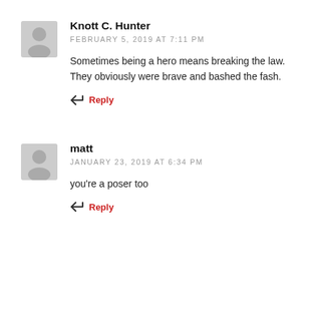Knott C. Hunter
FEBRUARY 5, 2019 AT 7:11 PM
Sometimes being a hero means breaking the law. They obviously were brave and bashed the fash.
Reply
matt
JANUARY 23, 2019 AT 6:34 PM
you're a poser too
Reply